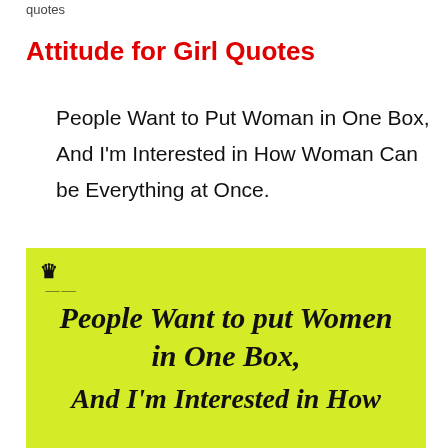quotes
Attitude for Girl Quotes
People Want to Put Woman in One Box, And I'm Interested in How Woman Can be Everything at Once.
[Figure (illustration): Yellow/lime green background image card with a small crown logo at top left, containing the quote text in bold italic script: 'People Want to put Women in One Box, in One Box, And I'm Interested in How']